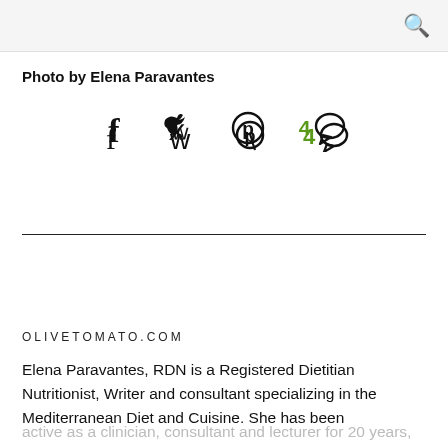🔍
Photo by Elena Paravantes
[Figure (infographic): Social sharing icons: Facebook, Twitter, Pinterest, and a comment count of 4 with speech bubble icon]
OLIVETOMATO.COM
Elena Paravantes, RDN is a Registered Dietitian Nutritionist, Writer and consultant specializing in the Mediterranean Diet and Cuisine. She has been active as a clinician, consultant and lecturer for 20 years, both in the U.S. and Greece. An expert on